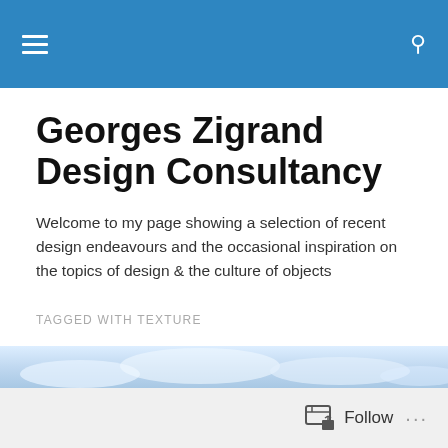Navigation bar with hamburger menu and search icon
Georges Zigrand Design Consultancy
Welcome to my page showing a selection of recent design endeavours and the occasional inspiration on the topics of design & the culture of objects
TAGGED WITH TEXTURE
Brutal but true
[Figure (photo): Partial view of a sky/cloud photograph at bottom of page]
Follow